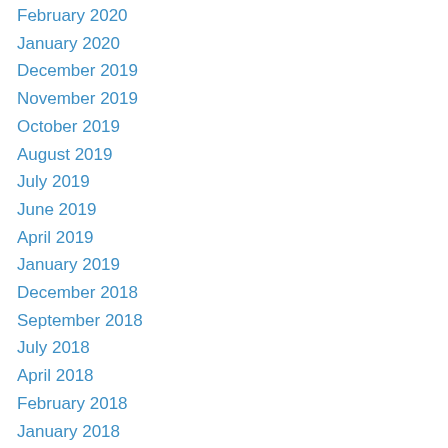February 2020
January 2020
December 2019
November 2019
October 2019
August 2019
July 2019
June 2019
April 2019
January 2019
December 2018
September 2018
July 2018
April 2018
February 2018
January 2018
December 2017
August 2017
July 2017
June 2017